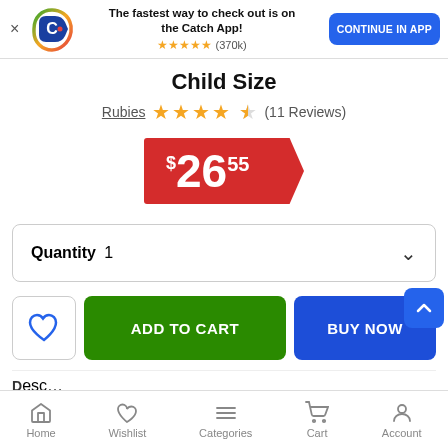[Figure (screenshot): App install banner with Catch logo, text 'The fastest way to check out is on the Catch App!', star rating ★★★★★ (370k), and blue 'CONTINUE IN APP' button]
Child Size
Rubies ★★★★☆ (11 Reviews)
$26.55
Quantity 1
[Figure (other): Wishlist heart icon button, green ADD TO CART button, blue BUY NOW button, blue scroll-to-top chevron button]
Home  Wishlist  Categories  Cart  Account